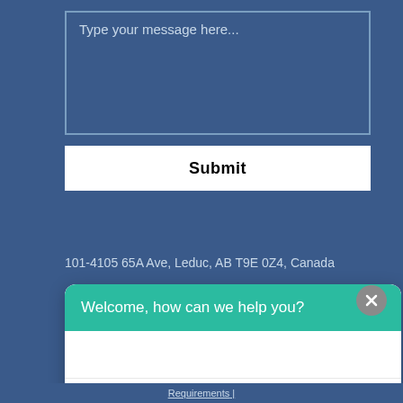[Figure (screenshot): Text input area with placeholder text 'Type your message here...' on dark blue background]
Submit
101-4105 65A Ave, Leduc, AB T9E 0Z4, Canada
[Figure (screenshot): Chat widget with teal header 'Welcome, how can we help you?' and input field 'Write your message...' with send button, and close button]
Requirements |